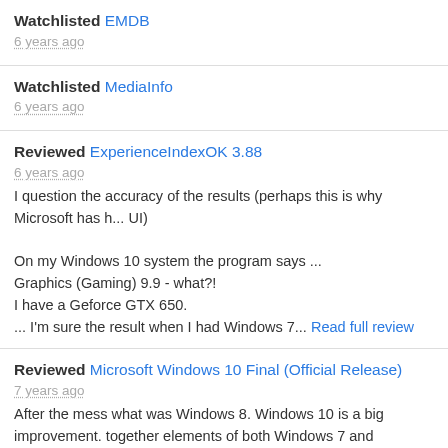Watchlisted EMDB
6 years ago
Watchlisted MediaInfo
6 years ago
Reviewed ExperienceIndexOK 3.88
6 years ago
I question the accuracy of the results (perhaps this is why Microsoft has hidden the UI)

On my Windows 10 system the program says ...
Graphics (Gaming) 9.9 - what?!
I have a Geforce GTX 650.
... I'm sure the result when I had Windows 7... Read full review
Reviewed Microsoft Windows 10 Final (Official Release)
7 years ago
After the mess what was Windows 8. Windows 10 is a big improvement. together elements of both Windows 7 and Windows 8, but with more opti the way you want to, full screen or desktop.

For me personally - I do not like the... Read full review